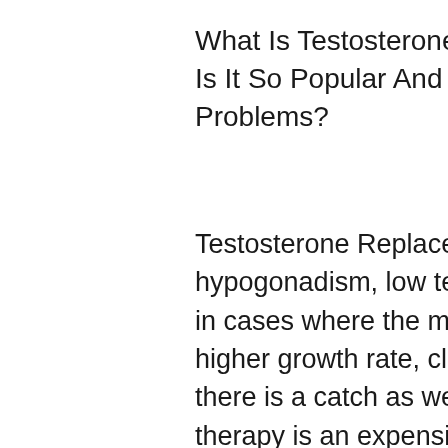What Is Testosterone Replacement Therapy And Why Is It So Popular And Why Does This Drug Cause Problems?
Testosterone Replacement Therapy is used to treat male hypogonadism, low testosterone, delayed puberty, and in cases where the male has a lot of bone growth and a higher growth rate, clenbuterol fat loss results. However, there is a catch as well. Testosterone replacement therapy is an expensive drug that can be used only once a year. But that doesn't matter much anymore, clomiphene and weight loss. Even if you decide to take a daily dose of testosterone daily for a week without any negative side effects, there is nothing to prevent other factors, like stress or other medical problems from stopping the use of the drug in some other ways, prednisone weight loss side effect. When you take a daily dose of